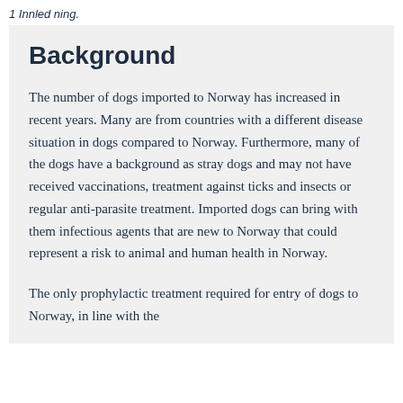1 Innled ning.
Background
The number of dogs imported to Norway has increased in recent years. Many are from countries with a different disease situation in dogs compared to Norway. Furthermore, many of the dogs have a background as stray dogs and may not have received vaccinations, treatment against ticks and insects or regular anti-parasite treatment. Imported dogs can bring with them infectious agents that are new to Norway that could represent a risk to animal and human health in Norway.
The only prophylactic treatment required for entry of dogs to Norway, in line with the